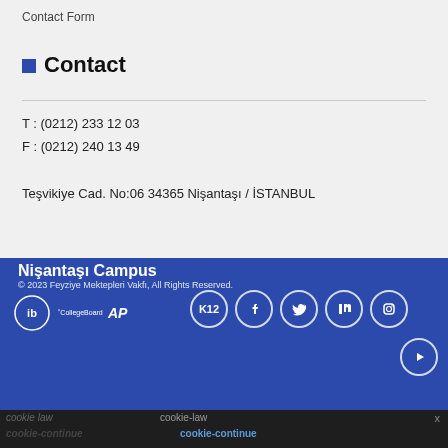Contact Form
Contact
T : (0212) 233 12 03
F : (0212) 240 13 49
Teşvikiye Cad. No:06 34365 Nişantaşı / İSTANBUL
Nişantaşı Campus
© 2023 Feyziye Mektepleri Vakfı, All Rights Reserved.
cookie-law  cookie-law  x  cookie-continue  cookie-continue